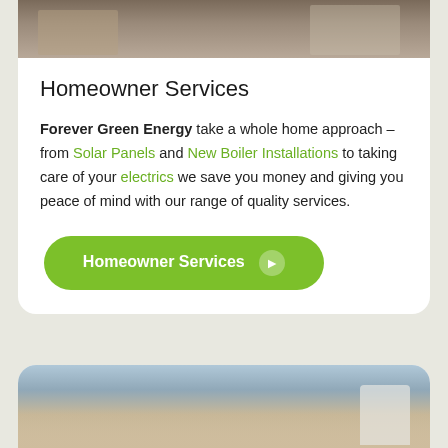[Figure (photo): Photo of a house exterior, partially visible at top of card]
Homeowner Services
Forever Green Energy take a whole home approach – from Solar Panels and New Boiler Installations to taking care of your electrics we save you money and giving you peace of mind with our range of quality services.
Homeowner Services →
[Figure (photo): Photo of a modern house exterior with solar/EV charging equipment, partially visible at bottom of page]